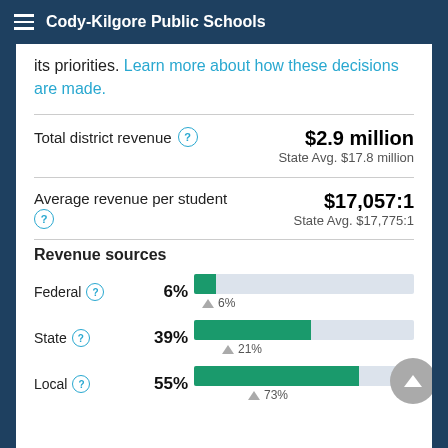Cody-Kilgore Public Schools
its priorities. Learn more about how these decisions are made.
Total district revenue
$2.9 million
State Avg. $17.8 million
Average revenue per student
$17,057:1
State Avg. $17,775:1
Revenue sources
[Figure (bar-chart): Revenue sources]